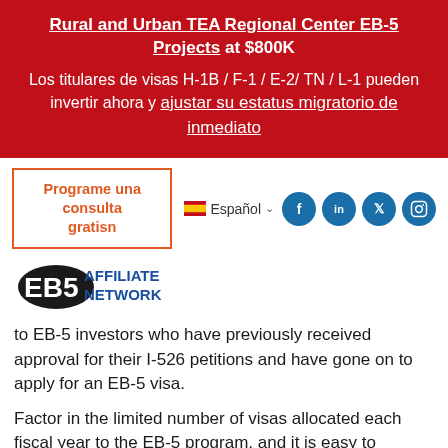Rural and Urban TEA Regional Center EB-5 Projects at $800K
Los titulares de visas H-1B / F-1 / E-2/ TN / L-1 pueden invertir ahora y ajustar su estatus migratorio de inmediato
Programe una consulta gratisn
Español
[Figure (logo): EB5 Affiliate Network logo with US map silhouette]
to EB-5 investors who have previously received approval for their I-526 petitions and have gone on to apply for an EB-5 visa.
Factor in the limited number of visas allocated each fiscal year to the EB-5 program, and it is easy to understand how countries with high EB-5 demand can rapidly become